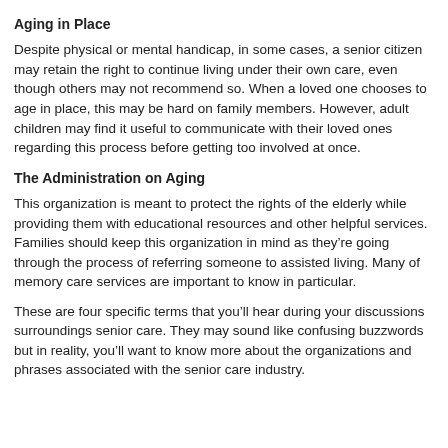Aging in Place
Despite physical or mental handicap, in some cases, a senior citizen may retain the right to continue living under their own care, even though others may not recommend so. When a loved one chooses to age in place, this may be hard on family members. However, adult children may find it useful to communicate with their loved ones regarding this process before getting too involved at once.
The Administration on Aging
This organization is meant to protect the rights of the elderly while providing them with educational resources and other helpful services. Families should keep this organization in mind as they’re going through the process of referring someone to assisted living. Many of memory care services are important to know in particular.
These are four specific terms that you’ll hear during your discussions surroundings senior care. They may sound like confusing buzzwords but in reality, you’ll want to know more about the organizations and phrases associated with the senior care industry.